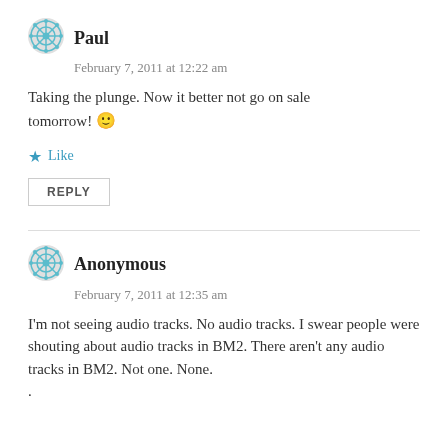Paul
February 7, 2011 at 12:22 am
Taking the plunge. Now it better not go on sale tomorrow! 🙂
★ Like
REPLY
Anonymous
February 7, 2011 at 12:35 am
I'm not seeing audio tracks. No audio tracks. I swear people were shouting about audio tracks in BM2. There aren't any audio tracks in BM2. Not one. None.
.